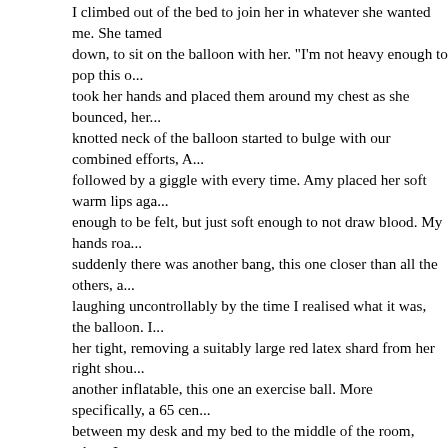I climbed out of the bed to join her in whatever she wanted me to. She tamed down, to sit on the balloon with her. "I'm not heavy enough to pop this one" I took her hands and placed them around my chest as she bounced, her... knotted neck of the balloon started to bulge with our combined efforts, A... followed by a giggle with every time. Amy placed her soft warm lips aga... enough to be felt, but just soft enough to not draw blood. My hands roa... suddenly there was another bang, this one closer than all the others, a... laughing uncontrollably by the time I realised what it was, the balloon. I... her tight, removing a suitably large red latex shard from her right shou... another inflatable, this one an exercise ball. More specifically, a 65 cen... between my desk and my bed to the middle of the room, where I was s... walking her feet out and eventually spreading herself on top, on her ba... "Let's finish what we started" She whispered and I climbed on top, eve... her rubbery nature would cause us both to slip off though eventually I w... thanks in most part for the ball, I was inside her again, feeling comforta... This was something fairly new, as I had never managed to make love i... to play the delicate balancing game as I thrust, the ball springing back s... And then it happened. As we were reaching the pinnacle of ecstasy the... thought, causing me to slip off. Onto the unforgiving floor. My arms wer... explained why I was still inside her despite that small tumble. Still on th... the ball rolled away in defiance, eventually settling against the foot of th... Amy's moans becoming more pronounced until she cried out in pure bli... woman like her make. Hearing her in ecstasy I also let go, crying her na... over me, one of the best feelings I had felt in a very long time; A welcom... Amy didn't need to say the words but her message was clear. Outside t... if the gods and goddesses themselves were pleased by our lovemaking... For the next ten minutes as the storm died down, we just lay there, gen... laughing and exchanging sentiments and me of course, letting her kno... more passionet deep kissing I got up, still carrying her in my arms and c... time. I gave her one last kiss, one of those give everything you've got, a... rost it during cuddles. We pulled the covers around us and prepared to...